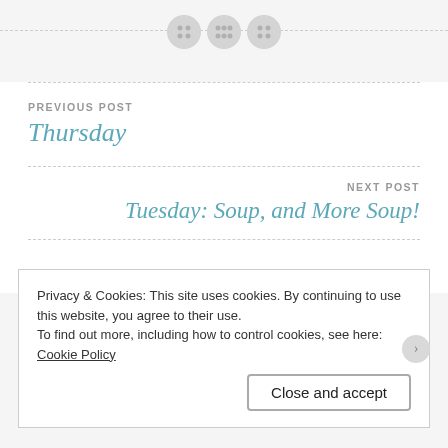[Figure (illustration): Decorative top area with three circular button-like icons on a dashed horizontal line]
PREVIOUS POST
Thursday
NEXT POST
Tuesday: Soup, and More Soup!
Privacy & Cookies: This site uses cookies. By continuing to use this website, you agree to their use.
To find out more, including how to control cookies, see here: Cookie Policy
Close and accept